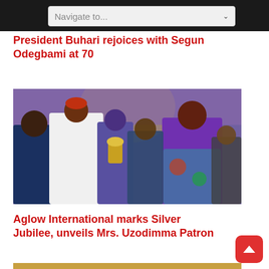Navigate to...
President Buhari rejoices with Segun Odegbami at 70
[Figure (photo): Group of people at an awards ceremony; a man in white traditional attire presents a trophy to a woman in colorful purple and green attire, with others looking on in front of a purple draped backdrop.]
Aglow International marks Silver Jubilee, unveils Mrs. Uzodimma Patron